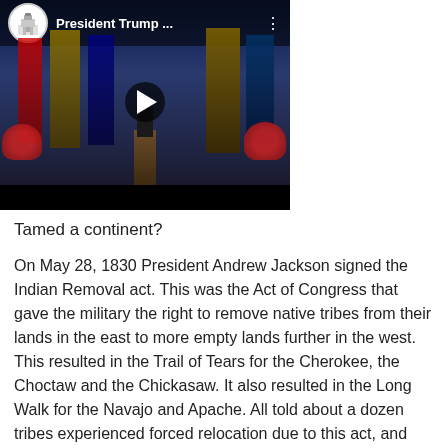[Figure (screenshot): YouTube video thumbnail showing President Trump speaking at a podium with American flags in the background. Video title reads 'President Trump ...' with White House channel icon. A play button is visible in the center.]
Tamed a continent?
On May 28, 1830 President Andrew Jackson signed the Indian Removal act. This was the Act of Congress that gave the military the right to remove native tribes from their lands in the east to more empty lands further in the west. This resulted in the Trail of Tears for the Cherokee, the Choctaw and the Chickasaw. It also resulted in the Long Walk for the Navajo and Apache. All told about a dozen tribes experienced forced relocation due to this act, and tens of thousands of native people died as a direct result of this act